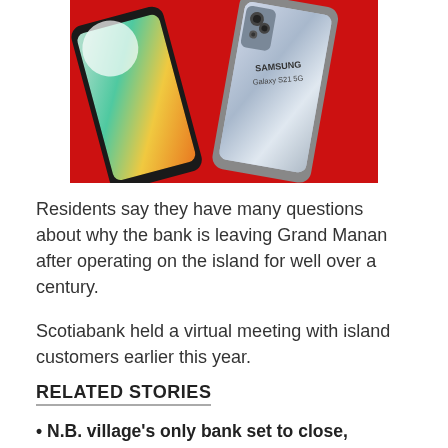[Figure (photo): Samsung Galaxy S21 5G smartphones displayed on a red background, showing two phones — one with a colorful abstract wallpaper and one silver/chrome finish with 'Samsung Galaxy S21 5G' text visible on the back.]
Residents say they have many questions about why the bank is leaving Grand Manan after operating on the island for well over a century.
Scotiabank held a virtual meeting with island customers earlier this year.
RELATED STORIES
• N.B. village's only bank set to close, leaving